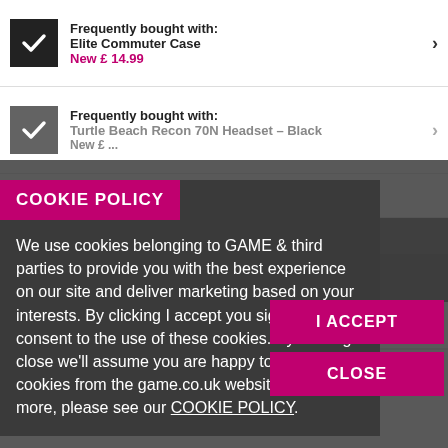Frequently bought with: Elite Commuter Case New £ 14.99
Frequently bought with: Turtle Beach Recon 70N Headset – Black New £ ...
COOKIE POLICY
We use cookies belonging to GAME & third parties to provide you with the best experience on our site and deliver marketing based on your interests. By clicking I accept you signify your consent to the use of these cookies. By clicking close we'll assume you are happy to receive cookies from the game.co.uk website. To learn more, please see our COOKIE POLICY.
I ACCEPT
CLOSE
Total Price: £74.97
ADD TO BASKET
Get up to 10% back for only £3 a month
DESCRIPTION
DELIVERY & REWARDS